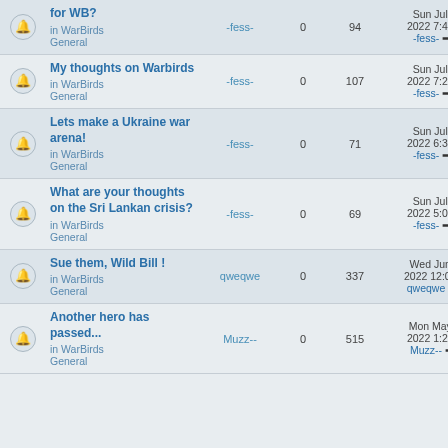|  | Topic | Author | Replies | Views | Last post |
| --- | --- | --- | --- | --- | --- |
| 🔔 | for WB? in WarBirds General | -fess- | 0 | 94 | Sun Jul 31, 2022 7:45 pm -fess- |
| 🔔 | My thoughts on Warbirds in WarBirds General | -fess- | 0 | 107 | Sun Jul 31, 2022 7:25 pm -fess- |
| 🔔 | Lets make a Ukraine war arena! in WarBirds General | -fess- | 0 | 71 | Sun Jul 31, 2022 6:31 pm -fess- |
| 🔔 | What are your thoughts on the Sri Lankan crisis? in WarBirds General | -fess- | 0 | 69 | Sun Jul 31, 2022 5:02 pm -fess- |
| 🔔 | Sue them, Wild Bill ! in WarBirds General | qweqwe | 0 | 337 | Wed Jun 29, 2022 12:00 pm qweqwe |
| 🔔 | Another hero has passed... in WarBirds General | Muzz-- | 0 | 515 | Mon May 16, 2022 1:28 pm Muzz-- |